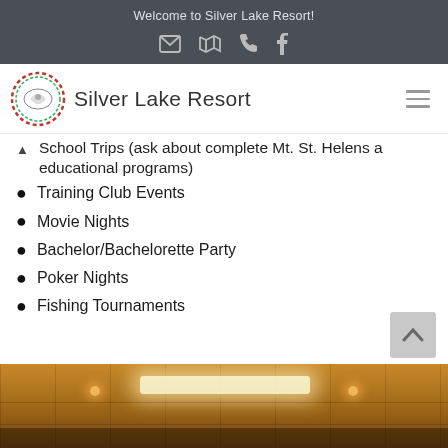Welcome to Silver Lake Resort!
[Figure (logo): Silver Lake Resort logo with decorative circular emblem and text]
School Trips (ask about complete Mt. St. Helens a educational programs)
Training Club Events
Movie Nights
Bachelor/Bachelorette Party
Poker Nights
Fishing Tournaments
[Figure (photo): Interior photo of a wood-paneled room with ceiling lights]